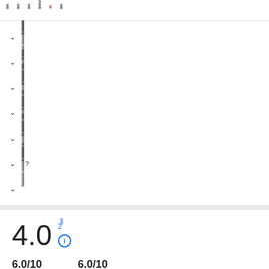็็็  ็็็  ็็็  ็็็็็็็  ็็  ็็็
▾  ็็็็็็็็็็็็็็็็็็็็็็็็็็็็็็็็
▾  ็็็็็็็็็็็็็็็็็็็็็็็็
▾  ็็็็็็็็็็็็็็็็็็็
▾  ็็็็็็็็็็็็็็็็็็็็็็็็็
▾  ็็็็็็็็็็็็็็็็็็็็็็็็
▾  ็็็็็็็็็็็็็็็็็็็็็็็็็?
▾  ็็็็็็็็็็็็็็็็็็็็็็็
4.0
2 ็็็
6.0/10  6.0/10